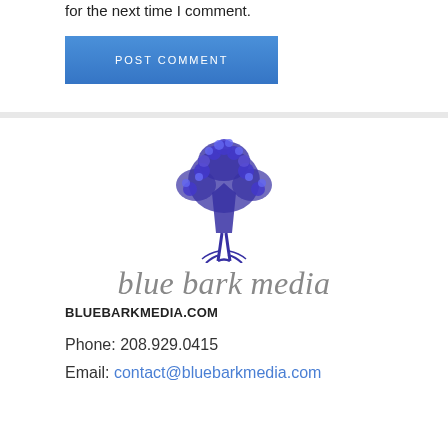for the next time I comment.
[Figure (other): POST COMMENT button - blue gradient rectangular button with white spaced text]
[Figure (logo): Blue Bark Media logo: blue illustrated tree above cursive gray 'blue bark media' text]
BLUEBARKMEDIA.COM
Phone: 208.929.0415
Email: contact@bluebarkmedia.com